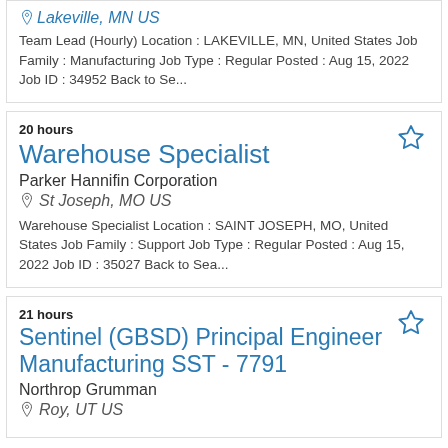Lakeville, MN US
Team Lead (Hourly) Location : LAKEVILLE, MN, United States Job Family : Manufacturing Job Type : Regular Posted : Aug 15, 2022 Job ID : 34952 Back to Se...
20 hours
Warehouse Specialist
Parker Hannifin Corporation
St Joseph, MO US
Warehouse Specialist Location : SAINT JOSEPH, MO, United States Job Family : Support Job Type : Regular Posted : Aug 15, 2022 Job ID : 35027 Back to Sea...
21 hours
Sentinel (GBSD) Principal Engineer Manufacturing SST - 7791
Northrop Grumman
Roy, UT US